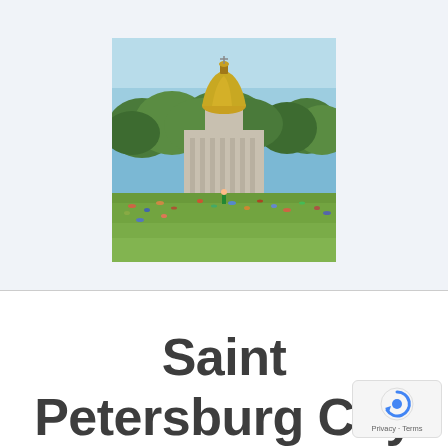[Figure (photo): Outdoor park scene with people relaxing on a green lawn in front of a large neoclassical cathedral or government building with a golden dome, surrounded by trees under a clear blue sky. Likely Saint Isaac's Cathedral in Saint Petersburg, Russia.]
Saint Petersburg City